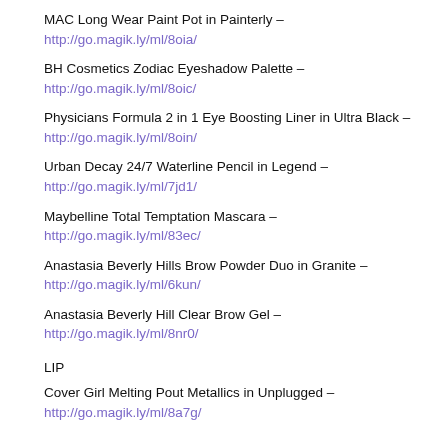MAC Long Wear Paint Pot in Painterly –
http://go.magik.ly/ml/8oia/
BH Cosmetics Zodiac Eyeshadow Palette –
http://go.magik.ly/ml/8oic/
Physicians Formula 2 in 1 Eye Boosting Liner in Ultra Black –
http://go.magik.ly/ml/8oin/
Urban Decay 24/7 Waterline Pencil in Legend –
http://go.magik.ly/ml/7jd1/
Maybelline Total Temptation Mascara –
http://go.magik.ly/ml/83ec/
Anastasia Beverly Hills Brow Powder Duo in Granite –
http://go.magik.ly/ml/6kun/
Anastasia Beverly Hill Clear Brow Gel –
http://go.magik.ly/ml/8nr0/
LIP
Cover Girl Melting Pout Metallics in Unplugged –
http://go.magik.ly/ml/8a7g/